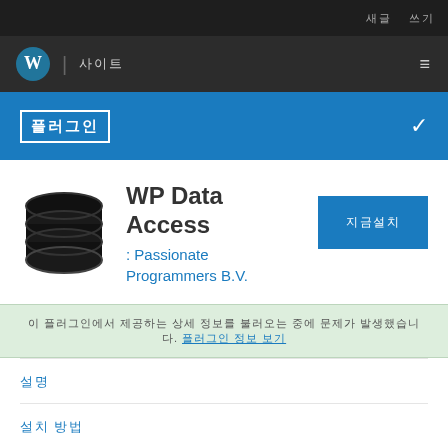새글 쓰기
워드프레스 설치
사이트
플러그인
WP Data Access
: Passionate Programmers B.V.
지금설치
이 플러그인에서 제공하는 상세 정보를 불러오는 중에 문제가 발생했습니다.
설명
설치 방법
자주 묻는 질문